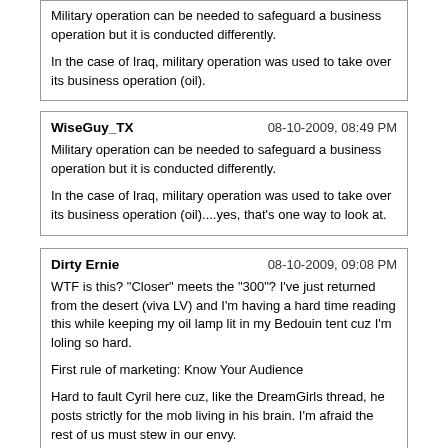Military operation can be needed to safeguard a business operation but it is conducted differently.

In the case of Iraq, military operation was used to take over its business operation (oil).
WiseGuy_TX | 08-10-2009, 08:49 PM

Military operation can be needed to safeguard a business operation but it is conducted differently.

In the case of Iraq, military operation was used to take over its business operation (oil)....yes, that's one way to look at.
Dirty Ernie | 08-10-2009, 09:08 PM

WTF is this? "Closer" meets the "300"? I've just returned from the desert (viva LV) and I'm having a hard time reading this while keeping my oil lamp lit in my Bedouin tent cuz I'm loling so hard.

First rule of marketing: Know Your Audience

Hard to fault Cyril here cuz, like the DreamGirls thread, he posts strictly for the mob living in his brain. I'm afraid the rest of us must stew in our envy.
JayATee | 08-10-2009, 09:39 PM

Don't worry, our wedding is next week.

Promises promises!

Only in my dreams. ;)
Shy_Guy | 08-10-2009, 11:42 PM